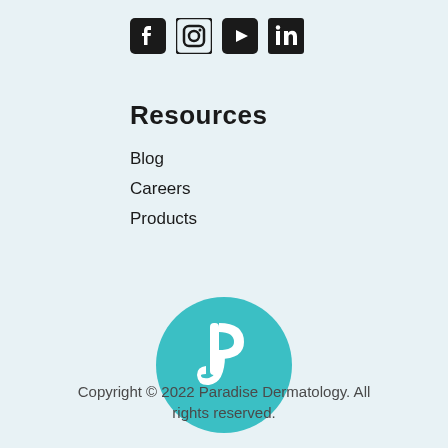[Figure (logo): Social media icons: Facebook, Instagram, YouTube, LinkedIn]
Resources
Blog
Careers
Products
[Figure (logo): Paradise Dermatology teal circular logo with stylized P and J letterform]
Copyright © 2022 Paradise Dermatology. All rights reserved.